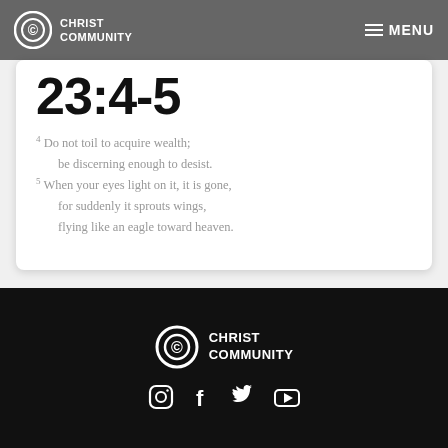CHRIST COMMUNITY — MENU
23:4-5
4 Do not toil to acquire wealth;
    be discerning enough to desist.
5 When your eyes light on it, it is gone,
    for suddenly it sprouts wings,
    flying like an eagle toward heaven.
CHRIST COMMUNITY — social icons: Instagram, Facebook, Twitter, YouTube